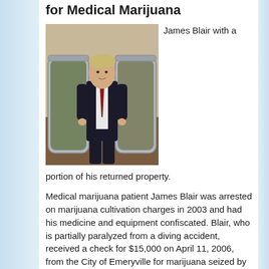for Medical Marijuana
[Figure (photo): Man in suit sitting between two large clear plastic storage bins filled with marijuana. James Blair with a portion of his returned property.]
James Blair with a portion of his returned property.
Medical marijuana patient James Blair was arrested on marijuana cultivation charges in 2003 and had his medicine and equipment confiscated. Blair, who is partially paralyzed from a diving accident, received a check for $15,000 on April 11, 2006, from the City of Emeryville for marijuana seized by its Police Department. With the assistance of ASA, Blair received